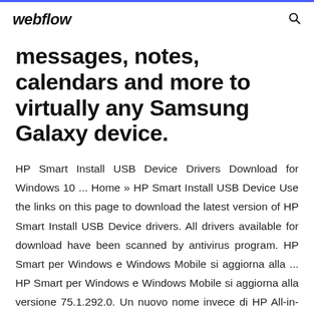webflow
messages, notes, calendars and more to virtually any Samsung Galaxy device.
HP Smart Install USB Device Drivers Download for Windows 10 ... Home » HP Smart Install USB Device Use the links on this page to download the latest version of HP Smart Install USB Device drivers. All drivers available for download have been scanned by antivirus program. HP Smart per Windows e Windows Mobile si aggiorna alla ... HP Smart per Windows e Windows Mobile si aggiorna alla versione 75.1.292.0. Un nuovo nome invece di HP All-in-One Printer Remote – la stessa